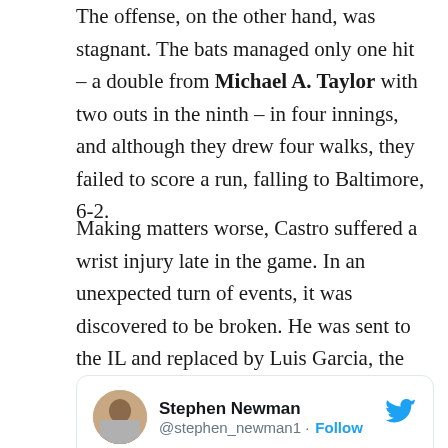The offense, on the other hand, was stagnant. The bats managed only one hit – a double from Michael A. Taylor with two outs in the ninth – in four innings, and although they drew four walks, they failed to score a run, falling to Baltimore, 6-2.
Making matters worse, Castro suffered a wrist injury late in the game. In an unexpected turn of events, it was discovered to be broken. He was sent to the IL and replaced by Luis Garcia, the team's top prospect remaining in the minor leagues.
[Figure (screenshot): Embedded tweet from @stephen_newman1 (Stephen Newman): 'Starlin Castro to the IL, and Ryne Harper is back along with the Garcia promotion.']